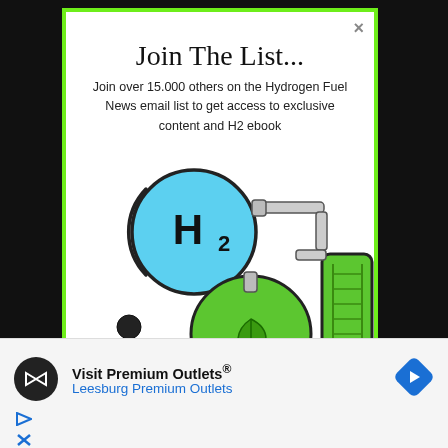Join The List...
Join over 15.000 others on the Hydrogen Fuel News email list to get access to exclusive content and H2 ebook
[Figure (illustration): Illustration of hydrogen fuel equipment: H2 molecule circle in blue, green gas cylinders with leaf logo, small person reading newspaper]
[Figure (advertisement): Ad banner: Visit Premium Outlets® / Leesburg Premium Outlets with circular logo and blue arrow icon]